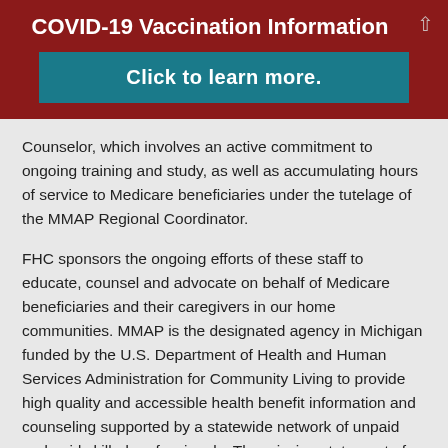COVID-19 Vaccination Information
[Figure (other): Blue button with text 'Click to learn more.']
Counselor, which involves an active commitment to ongoing training and study, as well as accumulating hours of service to Medicare beneficiaries under the tutelage of the MMAP Regional Coordinator.
FHC sponsors the ongoing efforts of these staff to educate, counsel and advocate on behalf of Medicare beneficiaries and their caregivers in our home communities. MMAP is the designated agency in Michigan funded by the U.S. Department of Health and Human Services Administration for Community Living to provide high quality and accessible health benefit information and counseling supported by a statewide network of unpaid and paid skilled professionals. The mission statement of MMAP is: "To educate, counsel and empower Michigan's